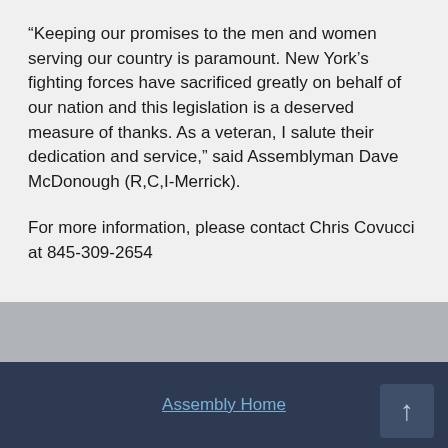“Keeping our promises to the men and women serving our country is paramount. New York’s fighting forces have sacrificed greatly on behalf of our nation and this legislation is a deserved measure of thanks. As a veteran, I salute their dedication and service,” said Assemblyman Dave McDonough (R,C,I-Merrick).
For more information, please contact Chris Covucci at 845-309-2654
Assembly Home